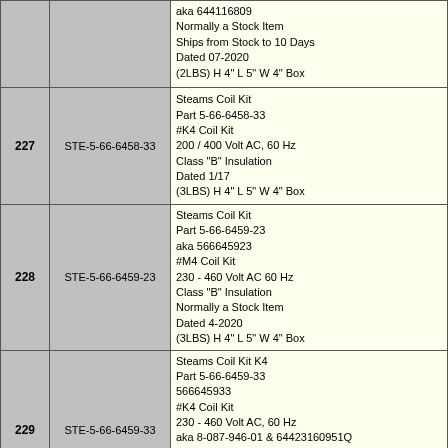| # | Part Number | Description |
| --- | --- | --- |
|  |  | aka 644116809
Normally a Stock Item
Ships from Stock to 10 Days
Dated 07-2020
(2LBS) H 4" L 5" W 4" Box |
| 227 | STE-5-66-6458-33 | Steams Coil Kit
Part 5-66-6458-33
#K4 Coil Kit
200 / 400 Volt AC, 60 Hz
Class "B" Insulation
Dated 1/17
(3LBS) H 4" L 5" W 4" Box |
| 228 | STE-5-66-6459-23 | Steams Coil Kit
Part 5-66-6459-23
aka 566645923
#M4 Coil Kit
230 - 460 Volt AC 60 Hz
Class "B" Insulation
Normally a Stock Item
Dated 4-2020
(3LBS) H 4" L 5" W 4" Box |
| 229 | STE-5-66-6459-33 | Steams Coil Kit K4
Part 5-66-6459-33
566645933
#K4 Coil Kit
230 - 460 Volt AC, 60 Hz
aka 8-087-946-01 & 64423160951Q
Normally a Stock Item
Ships from Stock to 2 Weeks
Dated 04-2022
(3LBS) H 4" L 5" W 4" Box |
| 230 | STE-5-66-6501-33 | Steams Coil Kit #5
Part 5-66-6501-33
566650133
# 5 Coil Kit
115 Volt AC 60 Hz
For 6 & 10 FT LB Brakes |